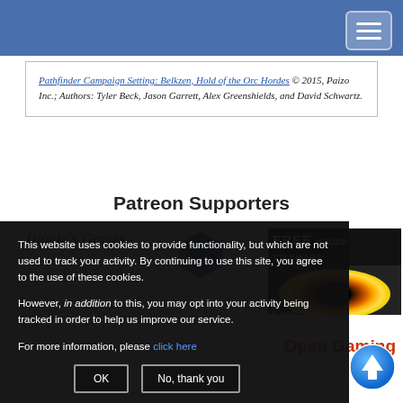Navigation bar with hamburger menu
Pathfinder Campaign Setting: Belkzen, Hold of the Orc Hordes © 2015, Paizo Inc.; Authors: Tyler Beck, Jason Garrett, Alex Greenshields, and David Schwartz.
Patreon Supporters
[Figure (logo): Dingle's Games logo in italic red text]
[Figure (logo): Hexagonal token/badge logo]
[Figure (illustration): Mad Cartographer banner showing FREE PF/D&D BATTLEMAPS with swirling black hole image]
This website uses cookies to provide functionality, but which are not used to track your activity. By continuing to use this site, you agree to the use of these cookies.

However, in addition to this, you may opt into your activity being tracked in order to help us improve our service.

For more information, please click here
Open Gaming
[Figure (illustration): Blue scroll-to-top arrow button]